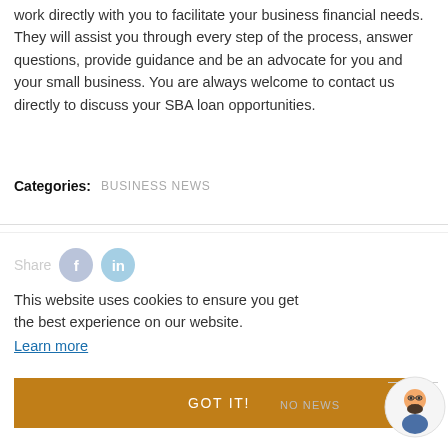work directly with you to facilitate your business financial needs. They will assist you through every step of the process, answer questions, provide guidance and be an advocate for you and your small business. You are always welcome to contact us directly to discuss your SBA loan opportunities.
Categories: BUSINESS NEWS
Share
This website uses cookies to ensure you get the best experience on our website. Learn more
GOT IT!